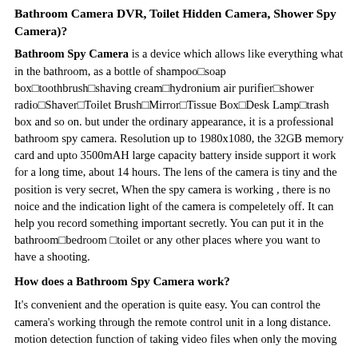Bathroom Camera DVR, Toilet Hidden Camera, Shower Spy Camera)?
Bathroom Spy Camera is a device which allows like everything what in the bathroom, as a bottle of shampoo□soap box□toothbrush□shaving cream□hydronium air purifier□shower radio□Shaver□Toilet Brush□Mirror□Tissue Box□Desk Lamp□trash box and so on. but under the ordinary appearance, it is a professional bathroom spy camera. Resolution up to 1980x1080, the 32GB memory card and upto 3500mAH large capacity battery inside support it work for a long time, about 14 hours. The lens of the camera is tiny and the position is very secret, When the spy camera is working , there is no noice and the indication light of the camera is compeletely off. It can help you record something important secretly. You can put it in the bathroom□bedroom □toilet or any other places where you want to have a shooting.
How does a Bathroom Spy Camera work?
It's convenient and the operation is quite easy. You can control the camera's working through the remote control unit in a long distance. motion detection function of taking video files when only the moving